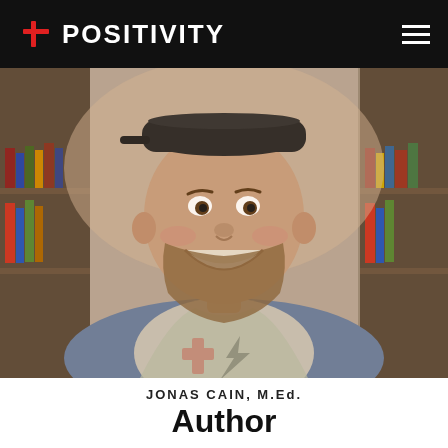# POSITIVITY
[Figure (photo): Smiling man wearing a baseball cap and a #Positivity branded t-shirt, seated in front of bookshelves. He has a beard and is taking a selfie-style photo.]
JONAS CAIN, M.Ed.
Author